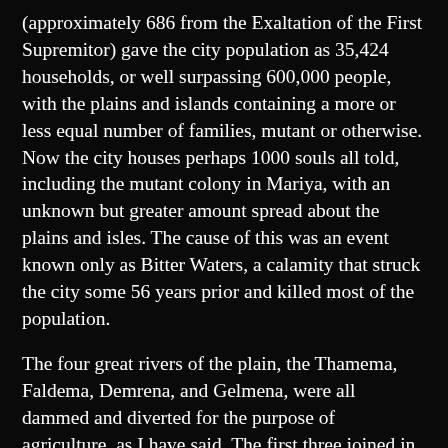(approximately 686 from the Exaltation of the First Supremitor) gave the city population as 35,424 households, or well surpassing 600,000 people, with the plains and islands containing a more or less equal number of families, mutant or otherwise. Now the city houses perhaps 1000 souls all told, including the mutant colony in Mariya, with an unknown but greater amount spread about the plains and isles. The cause of this was an event known only as Bitter Waters, a calamity that struck the city some 56 years prior and killed most of the population.
The four great rivers of the plain, the Thamema, Faldema, Demrena, and Gelmena, were all dammed and diverted for the purpose of agriculture, as I have said. The first three joined in antiquity and emptied into the sea at the Mariya, their confluences being very close to the coast, included within the district’s boundaries. The fourth exits elsewhere but because of the irrigation systems, all the rivers’ waters can mingle at any point on the vast coastal plain, as they well do. This made the spread of waterborne disease and access to clean water a great concern to the